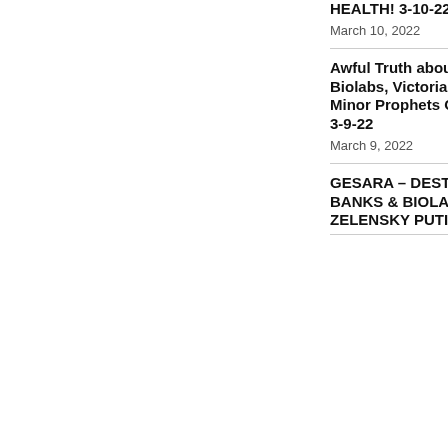HEALTH! 3-10-22
March 10, 2022
Awful Truth about Ukraine – Biolabs, Victoria Nuland, Minor Prophets Good News 3-9-22
March 9, 2022
GESARA – DESTROYING BANKS & BIOLABS – ZELENSKY PUTIN